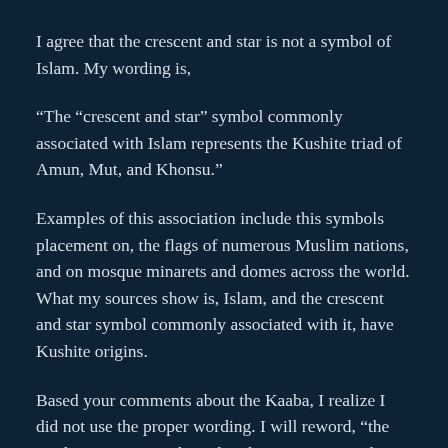I agree that the crescent and star is not a symbol of Islam. My wording is,
“The “crescent and star” symbol commonly associated with Islam represents the Kushite triad of Amun, Mut, and Khonsu.”
Examples of this association include this symbols placement on, the flags of numerous Muslim nations, and on mosque minarets and domes across the world. What my sources show is, Islam, and the crescent and star symbol commonly associated with it, have Kushite origins.
Based your comments about the Kaaba, I realize I did not use the proper wording. I will reword, “the Kaaba in Mecca is aligned with Canopus”, to “the face of Kaaba Stone in Mecca is aligned with Canopus”.